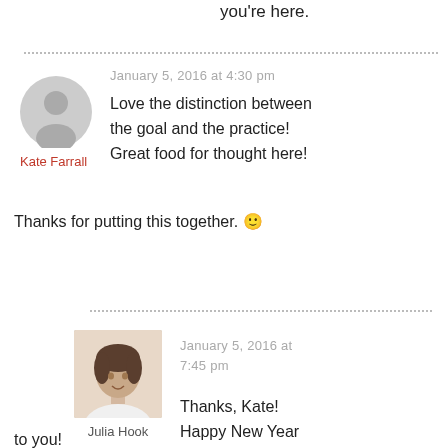you're here.
January 5, 2016 at 4:30 pm
[Figure (illustration): Grey placeholder avatar icon (circle with person silhouette)]
Kate Farrall
Love the distinction between the goal and the practice! Great food for thought here! Thanks for putting this together. 🙂
January 5, 2016 at 7:45 pm
[Figure (photo): Photo of Julia Hook, a woman with dark hair pulled back, wearing a white top, smiling]
Julia Hook
Thanks, Kate! Happy New Year to you!